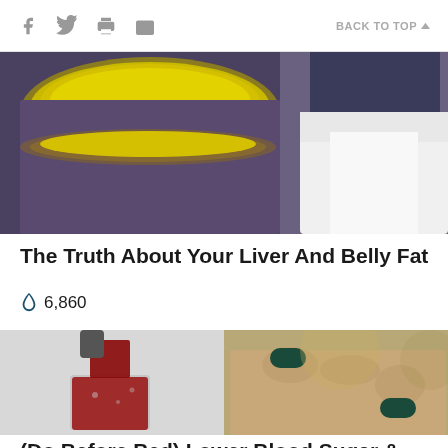f  Twitter  Print  Email  BACK TO TOP
[Figure (photo): Article thumbnail showing a bowl of yellow liquid/oil and a person in a white lab coat — liver and belly fat article image]
The Truth About Your Liver And Belly Fat
🔥 6,860
[Figure (photo): Two-panel image: left panel shows red liquid being poured into a glass; right panel shows a hand holding dark green capsules — blood sugar article image]
(Do Before Bed) Lower Blood Sugar & Get